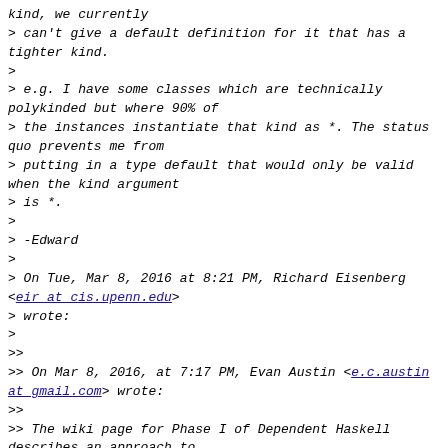kind, we currently
> can't give a default definition for it that has a tighter kind.
>
> e.g. I have some classes which are technically polykinded but where 90% of
> the instances instantiate that kind as *. The status quo prevents me from
> putting in a type default that would only be valid when the kind argument
> is *.
>
> -Edward
>
> On Tue, Mar 8, 2016 at 8:21 PM, Richard Eisenberg <eir at cis.upenn.edu>
> wrote:
>
>>
>> On Mar 8, 2016, at 7:17 PM, Evan Austin <e.c.austin at gmail.com> wrote:
>>
>> The wiki page for Phase I of Dependent Haskell describes an approach to
>> constrained type families:
>>
>>
>> https://ghc.haskell.org/trac/ghc/wiki/DependentHaskell/Ph
>>
>> Did that land in GHC 8.0 and, if so, is the updated